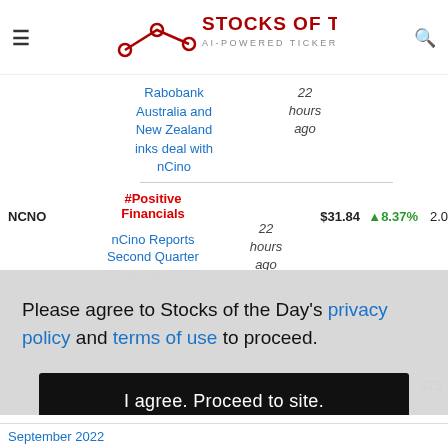STOCKS OF THE DAY — AI-POWERED TICKER NEWS
Rabobank Australia and New Zealand inks deal with nCino — 22 hours ago
| Ticker | Tag/Headline | Time | Price | Change | Vol |
| --- | --- | --- | --- | --- | --- |
| NCNO | #Positive Financials / nCino Reports Second Quarter Financials 2022 | 22 hours ago | $31.84 | ▲ 8.37% | 2.0 |
Please agree to Stocks of the Day's privacy policy and terms of use to proceed.
I agree. Proceed to site.
September 2022